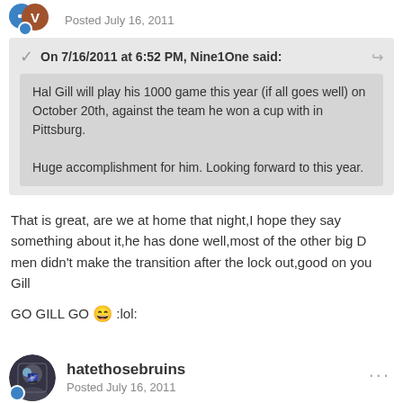Posted July 16, 2011
On 7/16/2011 at 6:52 PM, Nine1One said:
Hal Gill will play his 1000 game this year (if all goes well) on October 20th, against the team he won a cup with in Pittsburg.

Huge accomplishment for him. Looking forward to this year.
That is great, are we at home that night,I hope they say something about it,he has done well,most of the other big D men didn't make the transition after the lock out,good on you Gill
GO GILL GO 😄 :lol:
hatethosebruins
Posted July 16, 2011
On 7/16/2011 at 10:01 PM, maddiesmike said: